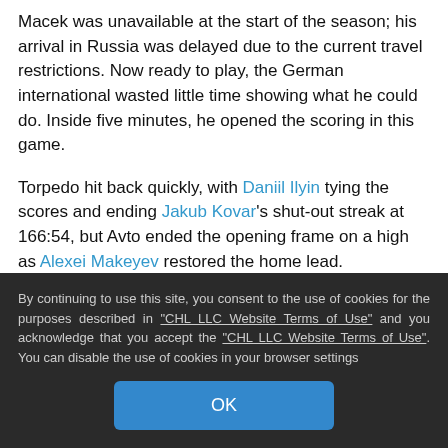Macek was unavailable at the start of the season; his arrival in Russia was delayed due to the current travel restrictions. Now ready to play, the German international wasted little time showing what he could do. Inside five minutes, he opened the scoring in this game.
Torpedo hit back quickly, with Daniil Ilyin tying the scores and ending Jakub Kovar's shut-out streak at 166:54, but Avto ended the opening frame on a high as Alexei Makeyev restored the home lead.
In the second period, though, quick goals from Justin Kloos and Chris Wideman turned the game around and put Torpedo in front. The Motormen piled on the pressure and got a reward seconds before the end of the frame when Macek scored his second on the power play. After six goals
By continuing to use this site, you consent to the use of cookies for the purposes described in "CHL LLC Website Terms of Use" and you acknowledge that you accept the "CHL LLC Website Terms of Use". You can disable the use of cookies in your browser settings
OK